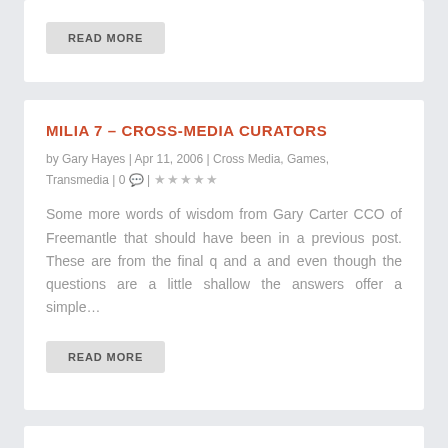READ MORE
MILIA 7 – CROSS-MEDIA CURATORS
by Gary Hayes | Apr 11, 2006 | Cross Media, Games, Transmedia | 0 | ★★★★★
Some more words of wisdom from Gary Carter CCO of Freemantle that should have been in a previous post. These are from the final q and a and even though the questions are a little shallow the answers offer a simple…
READ MORE
2006 PREDICTIONS